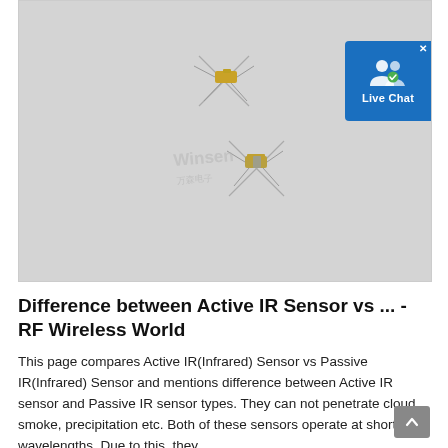[Figure (photo): Photo of two small IR sensor components (gold/silver colored axial-lead components resembling resistors) on a light gray background, with a 'Winsen' watermark and a Live Chat popup button in the top right corner.]
Difference between Active IR Sensor vs ... - RF Wireless World
This page compares Active IR(Infrared) Sensor vs Passive IR(Infrared) Sensor and mentions difference between Active IR sensor and Passive IR sensor types. They can not penetrate cloud, smoke, precipitation etc. Both of these sensors operate at short wavelengths. Due to this, they